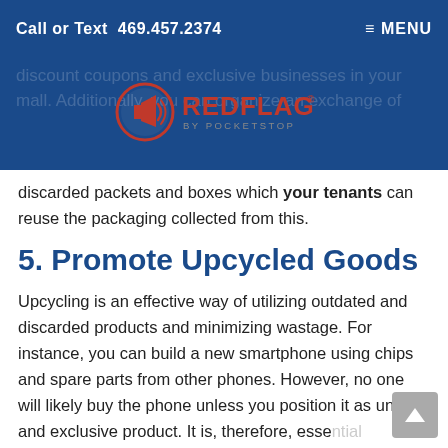Call or Text 469.457.2374    ≡ MENU
[Figure (logo): RedFlag by Pocketstop logo — red circle with megaphone icon, red 'REDFLAG' text with trademark symbol, 'BY POCKETSTOP' subtitle]
discarded packets and boxes which your tenants can reuse the packaging collected from this.
5. Promote Upcycled Goods
Upcycling is an effective way of utilizing outdated and discarded products and minimizing wastage. For instance, you can build a new smartphone using chips and spare parts from other phones. However, no one will likely buy the phone unless you position it as unique and exclusive product. It is, therefore, essential